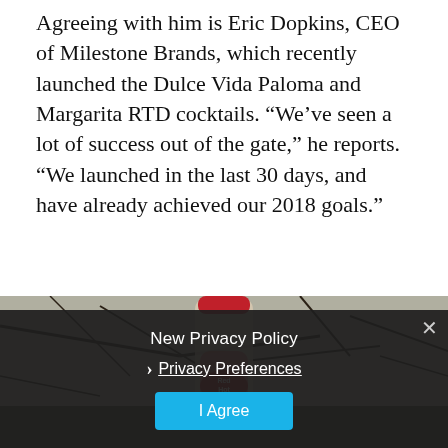Agreeing with him is Eric Dopkins, CEO of Milestone Brands, which recently launched the Dulce Vida Paloma and Margarita RTD cocktails. "We've seen a lot of success out of the gate," he reports. "We launched in the last 30 days, and have already achieved our 2018 goals."
[Figure (photo): A glass bottle with a red cap and 'Red Hot' label containing pink/red liquid, photographed against a background of bare tree branches.]
[Figure (screenshot): Privacy policy consent overlay with dark background, showing 'New Privacy Policy' heading, a 'Privacy Preferences' link with chevron, and a teal 'I Agree' button, with an X close button in the top right.]